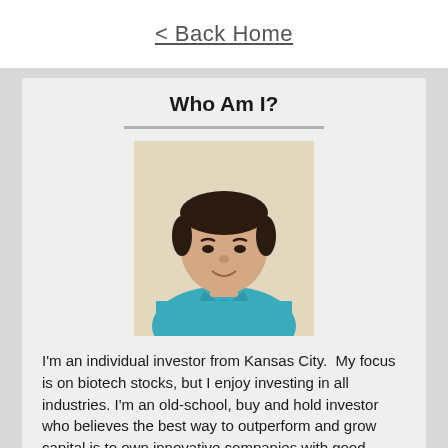< Back Home
Who Am I?
[Figure (photo): Headshot photo of a young man in a teal/turquoise polo shirt, with dark hair, smiling, against a light background.]
I'm an individual investor from Kansas City. My focus is on biotech stocks, but I enjoy investing in all industries. I'm an old-school, buy and hold investor who believes the best way to outperform and grow capital is to own innovative companies with good management teams over the long-term. more>>>